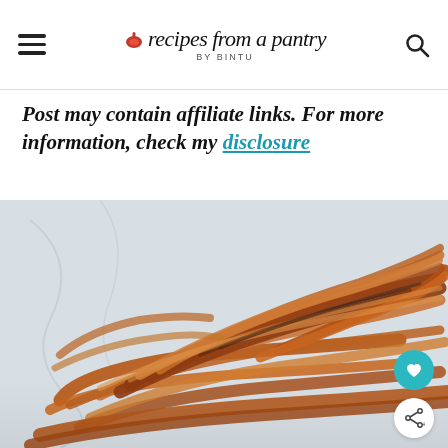recipes from a pantry BY BINTU
Post may contain affiliate links. For more information, check my disclosure
[Figure (photo): A pile of crispy sweet potato fries arranged on a white surface, golden-brown and slightly charred, viewed close-up from a low angle.]